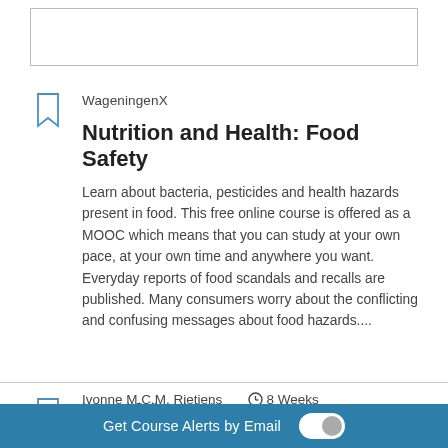[Figure (other): Empty white rectangle with border at top of page]
WageningenX
Nutrition and Health: Food Safety
Learn about bacteria, pesticides and health hazards present in food. This free online course is offered as a MOOC which means that you can study at your own pace, at your own time and anywhere you want. Everyday reports of food scandals and recalls are published. Many consumers worry about the conflicting and confusing messages about food hazards....
Ivonne M.C.M. Rietjens   ⊙ 8 Weeks
Available now
Imperial College London
Get Course Alerts by Email